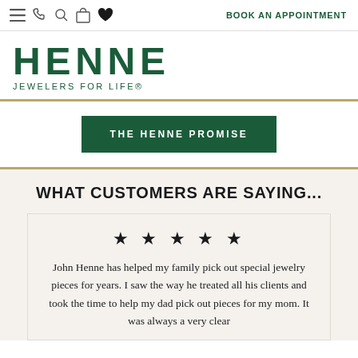☰ 📞 🔍 🛍 ♥  BOOK AN APPOINTMENT
HENNE
JEWELERS FOR LIFE®
THE HENNE PROMISE
WHAT CUSTOMERS ARE SAYING...
★ ★ ★ ★ ★
John Henne has helped my family pick out special jewelry pieces for years. I saw the way he treated all his clients and took the time to help my dad pick out pieces for my mom. It was always a very clear